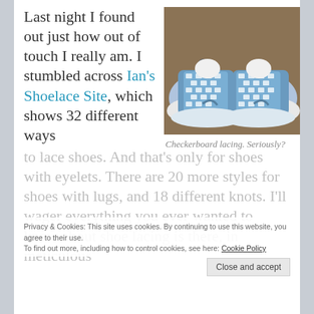Last night I found out just how out of touch I really am. I stumbled across Ian's Shoelace Site, which shows 32 different ways to lace shoes. And that's only for shoes with eyelets. There are 20 more styles for shoes with lugs, and 18 different knots. I'll wager everything you ever wanted to know about shoe lacing is there, in meticulous
[Figure (photo): A pair of blue and white Air Jordan sneakers with checkerboard lacing pattern, photographed from above on a wooden surface.]
Checkerboard lacing. Seriously?
Privacy & Cookies: This site uses cookies. By continuing to use this website, you agree to their use. To find out more, including how to control cookies, see here: Cookie Policy
Close and accept